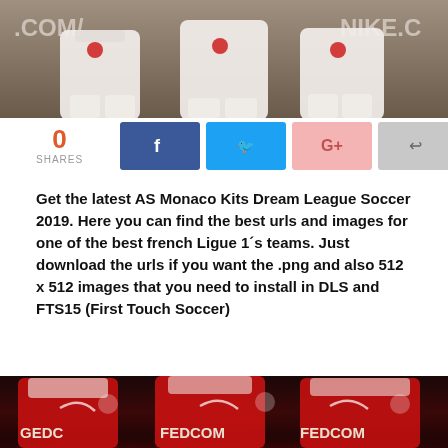[Figure (photo): AS Monaco players in white away kits running, with .COM and NIKE.C text banners visible in the background]
0 SHARES
[Figure (infographic): Social sharing buttons: Facebook (blue), Twitter (blue), Google+ (pink), Share (gray)]
Get the latest AS Monaco Kits Dream League Soccer 2019. Here you can find the best urls and images for one of the best french Ligue 1´s teams. Just download the urls if you want the .png and also 512 x 512 images that you need to install in DLS and FTS15 (First Touch Soccer)
[Figure (photo): Three AS Monaco players in red and white home kits with FEDCOM sponsor, including Mbappe, Falcao, and another player running toward camera]